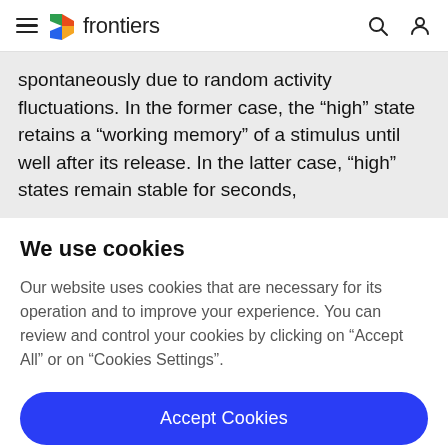frontiers
spontaneously due to random activity fluctuations. In the former case, the “high” state retains a “working memory” of a stimulus until well after its release. In the latter case, “high” states remain stable for seconds,
We use cookies
Our website uses cookies that are necessary for its operation and to improve your experience. You can review and control your cookies by clicking on “Accept All” or on “Cookies Settings”.
Accept Cookies
Cookies Settings